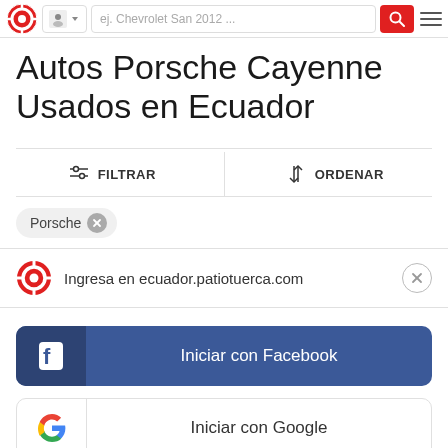[Figure (screenshot): Top navigation bar with Patio Tuerca logo, location dropdown, search input, red search button, and hamburger menu]
Autos Porsche Cayenne Usados en Ecuador
[Figure (infographic): Filter and sort bar with FILTRAR and ORDENAR options separated by a vertical divider]
[Figure (infographic): Active filter chip showing 'Porsche' with an X close button]
[Figure (infographic): Promo banner with Patio Tuerca logo and text 'Ingresa en ecuador.patiotuerca.com' with close button]
[Figure (infographic): Blue Facebook login button with Facebook icon and text 'Iniciar con Facebook']
[Figure (infographic): White Google login button with Google logo and text 'Iniciar con Google']